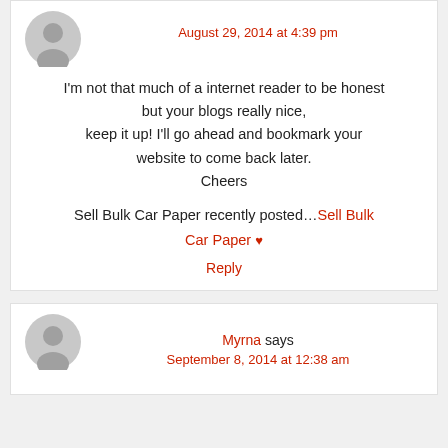August 29, 2014 at 4:39 pm
I'm not that much of a internet reader to be honest but your blogs really nice, keep it up! I'll go ahead and bookmark your website to come back later. Cheers
Sell Bulk Car Paper recently posted…Sell Bulk Car Paper
Reply
Myrna says
September 8, 2014 at 12:38 am